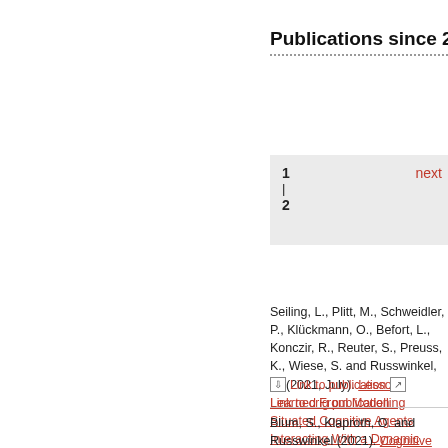Publications since 2010
1 | 2 next
Seiling, L., Plitt, M., Schweidler, P., Klückmann, O., Befort, L., Konczir, R., Reuter, S., Preuss, K., Wiese, S. and Russwinkel, N. (2021, July). Lessons Learned From Modelling Situated Cognitive Agents Interacting With a Dynamic Environment. Poster presented at the 19th International Conference on Cognitive Modelling.
Link to publication   Link to original publication
Blum, S., Klaproth, O. and Russwinkel (2021). Cognitive modeling of anticipation: Unsupervised learning and symbolic modeling of pilots' mental representations,
Link to publication